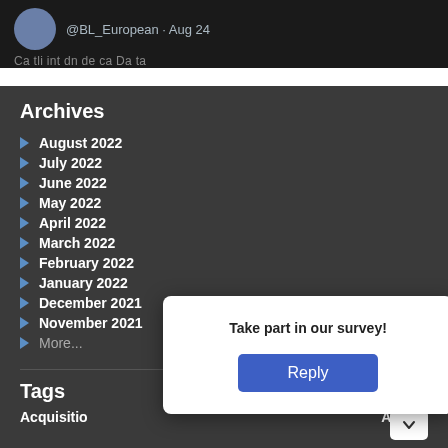[Figure (screenshot): Twitter/social media post snippet showing avatar, @BL_European handle and Aug 24 date, with truncated post text below]
Archives
August 2022
July 2022
June 2022
May 2022
April 2022
March 2022
February 2022
January 2022
December 2021
November 2021
More...
Tags
Acquisitio
Animal
Take part in our survey!
Reply